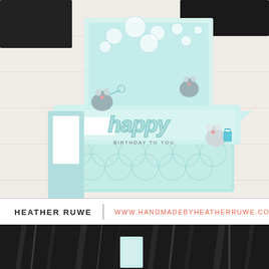[Figure (photo): A light mint/teal handmade pop-up style birthday card box with cute illustrated mice, bubbles, and the word 'happy birthday to you' on a white wooden surface background. Black sections visible at top left and right corners.]
HEATHER RUWE | WWW.HANDMADEBYHEATHERRUWE.COM
[Figure (photo): Black and white photo showing a dark wood plank background with a small light-colored card or paper piece visible in the lower center area.]